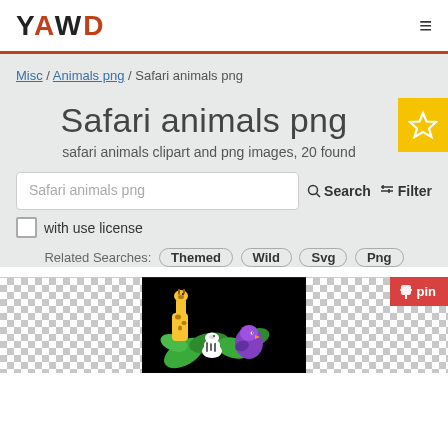YAWD
Misc / Animals png / Safari animals png
Safari animals png
safari animals clipart and png images, 20 found
Safari animals png  Search  Filter
with use license
Related Searches: Themed Wild Svg Png
[Figure (screenshot): Three image thumbnails at bottom: two checkerboard (transparent) placeholders and one dark image showing cartoon safari animals (giraffe, zebra, purple bird) with tropical leaves. A red pin button overlaps the right side.]